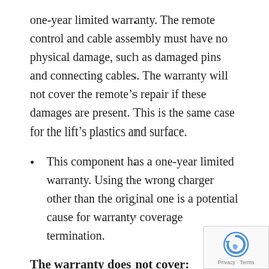one-year limited warranty. The remote control and cable assembly must have no physical damage, such as damaged pins and connecting cables. The warranty will not cover the remote's repair if these damages are present. This is the same case for the lift's plastics and surface.
This component has a one-year limited warranty. Using the wrong charger other than the original one is a potential cause for warranty coverage termination.
The warranty does not cover: